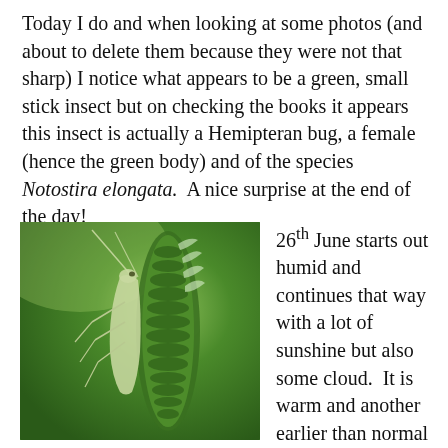Today I do and when looking at some photos (and about to delete them because they were not that sharp) I notice what appears to be a green, small stick insect but on checking the books it appears this insect is actually a Hemipteran bug, a female (hence the green body) and of the species Notostira elongata.  A nice surprise at the end of the day!
[Figure (photo): Close-up macro photograph of a green stick-like Hemipteran bug (Notostira elongata) clinging to a green plant spike/catkin, shown against a blurred green background.]
26th June starts out humid and continues that way with a lot of sunshine but also some cloud.  It is warm and another earlier than normal start, by thirty minutes or so.  This time I head through